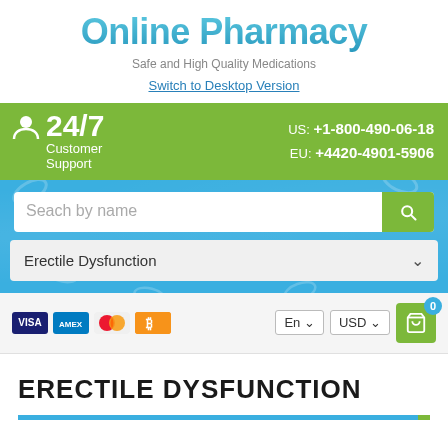Online Pharmacy
Safe and High Quality Medications
Switch to Desktop Version
24/7 Customer Support  US: +1-800-490-06-18  EU: +4420-4901-5906
[Figure (screenshot): Search bar with placeholder 'Seach by name' and green search button]
Erectile Dysfunction
[Figure (infographic): Payment icons: VISA, American Express, Mastercard, Bitcoin; language selector En; currency selector USD; shopping cart with 0 items]
ERECTILE DYSFUNCTION